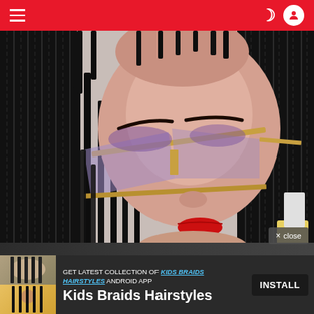Navigation bar with hamburger menu, dark mode toggle, and user icon
[Figure (photo): Close-up photo of a person with long black box braids, wearing large gold-framed semi-rimless sunglasses with purple-tinted lenses, purple eyeshadow, and red lipstick. The braids frame the face prominently.]
× close
[Figure (photo): Ad banner thumbnail showing two stacked small photos of kids braids hairstyles]
GET LATEST COLLECTION OF KIDS BRAIDS HAIRSTYLES ANDROID APP
Kids Braids Hairstyles
INSTALL